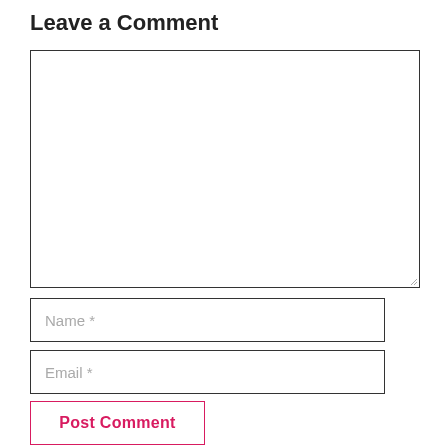Leave a Comment
[Figure (screenshot): Large empty textarea input box for comment text]
Name *
Email *
Post Comment